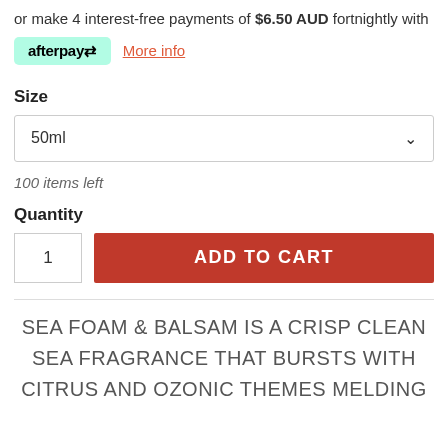or make 4 interest-free payments of $6.50 AUD fortnightly with
[Figure (logo): Afterpay logo badge in mint green with text 'afterpay' and arrow icon]
More info
Size
50ml (dropdown selector)
100 items left
Quantity
1  ADD TO CART
SEA FOAM & BALSAM IS A CRISP CLEAN SEA FRAGRANCE THAT BURSTS WITH CITRUS AND OZONIC THEMES MELDING